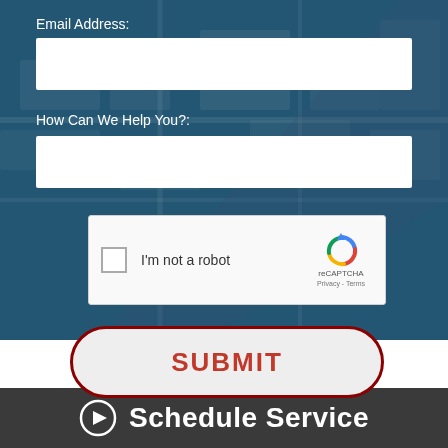Email Address:
[Figure (screenshot): White input field for email address]
How Can We Help You?:
[Figure (screenshot): White input field for help message]
[Figure (screenshot): reCAPTCHA widget with checkbox labeled I'm not a robot and reCAPTCHA logo with Privacy - Terms links]
[Figure (screenshot): SUBMIT button with dark red border and red text on light background, pill-shaped]
Schedule Service